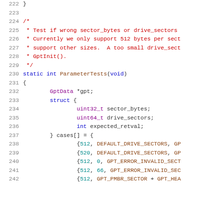[Figure (screenshot): Source code listing in C, lines 222-242, showing a ParameterTests function with struct definition and test cases array initialization. Line numbers shown in grey on left, code syntax highlighted with blue keywords, red comments, purple types.]